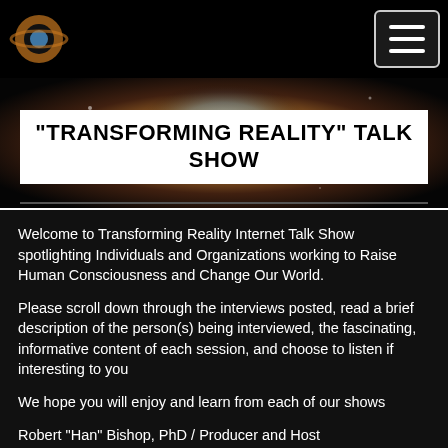[Logo] [Navigation menu button]
[Figure (photo): Cosmic nebula banner image with blue, orange, and dark space background]
"TRANSFORMING REALITY" TALK SHOW
Welcome to Transforming Reality Internet Talk Show spotlighting Individuals and Organizations working to Raise Human Consciousness and Change Our World.

Please scroll down through the interviews posted, read a brief description of the person(s) being interviewed, the fascinating, informative content of each session, and choose to listen if interesting to you

We hope you will enjoy and learn from each of our shows

Robert "Han" Bishop, PhD / Producer and Host